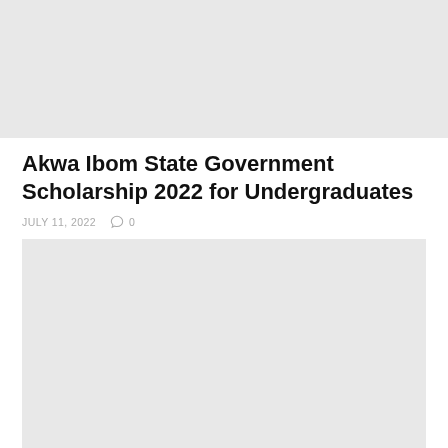[Figure (photo): Top image placeholder — light gray rectangle]
Akwa Ibom State Government Scholarship 2022 for Undergraduates
JULY 11, 2022   ◯ 0
[Figure (photo): Bottom image placeholder — light gray rectangle]